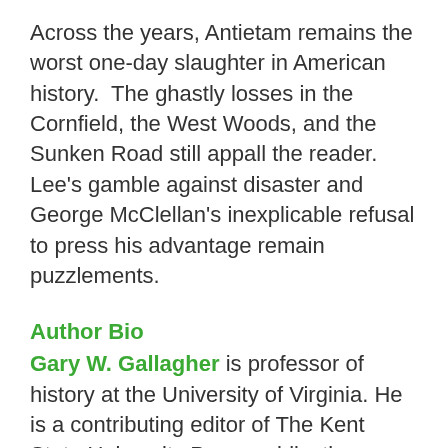Across the years, Antietam remains the worst one-day slaughter in American history.  The ghastly losses in the Cornfield, the West Woods, and the Sunken Road still appall the reader.  Lee's gamble against disaster and George McClellan's inexplicable refusal to press his advantage remain puzzlements.
Author Bio
Gary W. Gallagher is professor of history at the University of Virginia. He is a contributing editor of The Kent State University Press publications Struggle for the Shenandoah: Essays on the 1864 Valley Campaign (1991); The First Day at Gettysburg: Essays